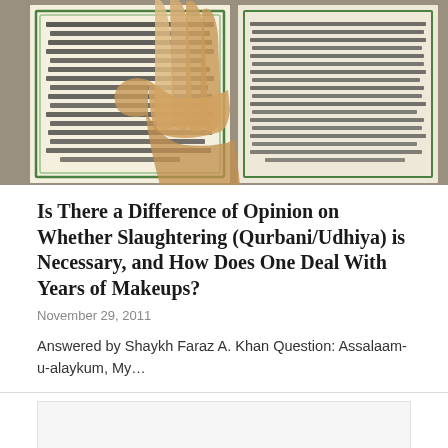[Figure (photo): A hand pointing at an open Quran page with Arabic text and decorative green border]
Is There a Difference of Opinion on Whether Slaughtering (Qurbani/Udhiya) is Necessary, and How Does One Deal With Years of Makeups?
November 29, 2011
Answered by Shaykh Faraz A. Khan Question: Assalaam-u-alaykum, My…